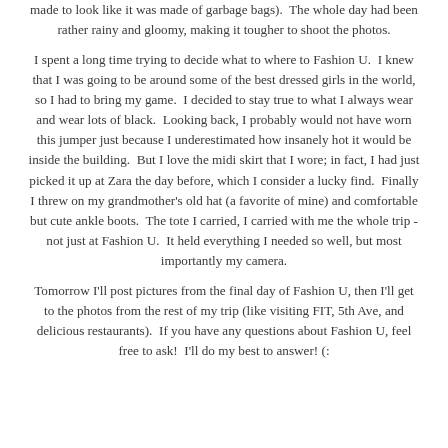made to look like it was made of garbage bags).  The whole day had been rather rainy and gloomy, making it tougher to shoot the photos.
I spent a long time trying to decide what to where to Fashion U.  I knew that I was going to be around some of the best dressed girls in the world, so I had to bring my game.  I decided to stay true to what I always wear and wear lots of black.  Looking back, I probably would not have worn this jumper just because I underestimated how insanely hot it would be inside the building.  But I love the midi skirt that I wore; in fact, I had just picked it up at Zara the day before, which I consider a lucky find.  Finally I threw on my grandmother's old hat (a favorite of mine) and comfortable but cute ankle boots.  The tote I carried, I carried with me the whole trip - not just at Fashion U.  It held everything I needed so well, but most importantly my camera.
Tomorrow I'll post pictures from the final day of Fashion U, then I'll get to the photos from the rest of my trip (like visiting FIT, 5th Ave, and delicious restaurants).  If you have any questions about Fashion U, feel free to ask!  I'll do my best to answer! (: